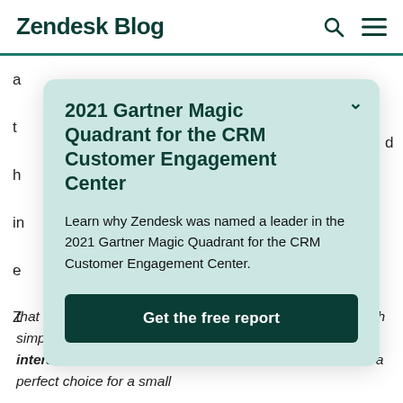Zendesk Blog
2021 Gartner Magic Quadrant for the CRM Customer Engagement Center
Learn why Zendesk was named a leader in the 2021 Gartner Magic Quadrant for the CRM Customer Engagement Center.
Get the free report
that makes keeping track of and interacting with clients both simple and easy. Being able to read whole past interactions as well as see relevant sales data makes it a perfect choice for a small